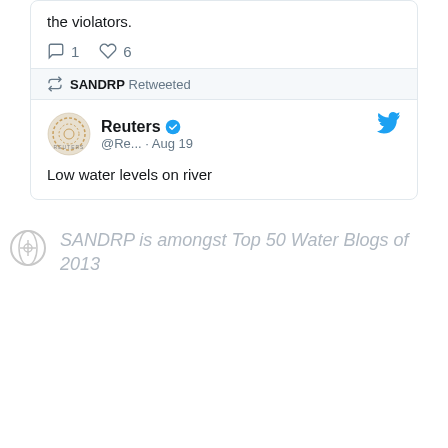the violators.
1 comment, 6 likes
SANDRP Retweeted
Reuters @Re... · Aug 19
Low water levels on river
SANDRP is amongst Top 50 Water Blogs of 2013